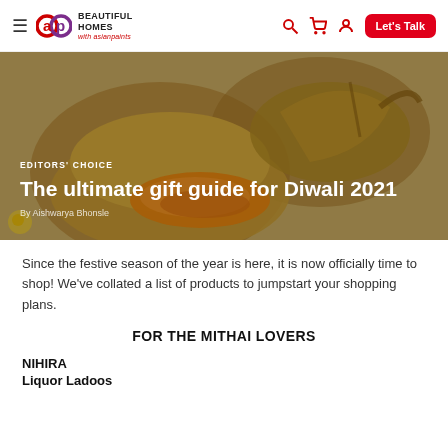Beautiful Homes with Asian Paints — navigation bar with search, cart, login and Let's Talk button
[Figure (photo): Hero image of golden decorative bowls/diyas with orange granules (possibly saffron or sugar crystals) against a beige background, overlaid with article title text]
EDITORS' CHOICE
The ultimate gift guide for Diwali 2021
By Aishwarya Bhonsle
Since the festive season of the year is here, it is now officially time to shop! We've collated a list of products to jumpstart your shopping plans.
FOR THE MITHAI LOVERS
NIHIRA
Liquor Ladoos